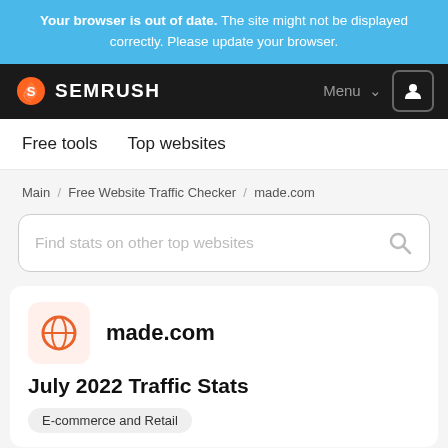Your browser is out of date. The site might not be displayed correctly. Please update your browser.
[Figure (logo): SEMrush logo with orange rocket/flame icon and white SEMRUSH text on black navbar]
Free tools   Top websites
Main / Free Website Traffic Checker / made.com
Find stats on other top websites
[Figure (logo): made.com orange globe icon in a salmon/peach rounded square]
made.com
July 2022 Traffic Stats
E-commerce and Retail